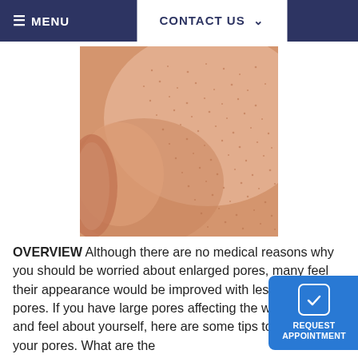≡ MENU   CONTACT US ∨
[Figure (photo): Close-up macro photograph of human skin showing enlarged pores on the nose/cheek area, with pinkish-beige skin tone and visible pore texture]
OVERVIEW Although there are no medical reasons why you should be worried about enlarged pores, many feel their appearance would be improved with less noticeable pores. If you have large pores affecting the way you view and feel about yourself, here are some tips to help shrink your pores. What are the